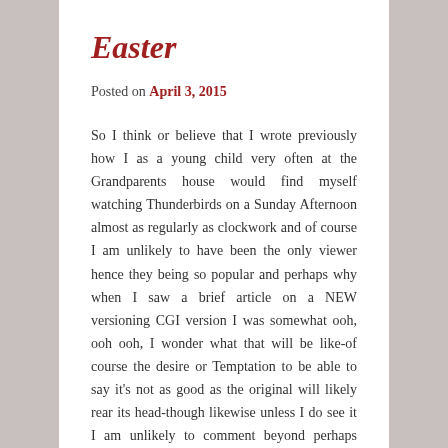Easter
Posted on April 3, 2015
So I think or believe that I wrote previously how I as a young child very often at the Grandparents house would find myself watching Thunderbirds on a Sunday Afternoon almost as regularly as clockwork and of course I am unlikely to have been the only viewer hence they being so popular and perhaps why when I saw a brief article on a NEW versioning CGI version I was somewhat ooh, ooh ooh, I wonder what that will be like-of course the desire or Temptation to be able to say it's not as good as the original will likely rear its head-though likewise unless I do see it I am unlikely to comment beyond perhaps having an awareness that the clip that I saw looked pretty damned faithful to the Original something I think most elderly fans would want and so on. Likewise of course I speculate that